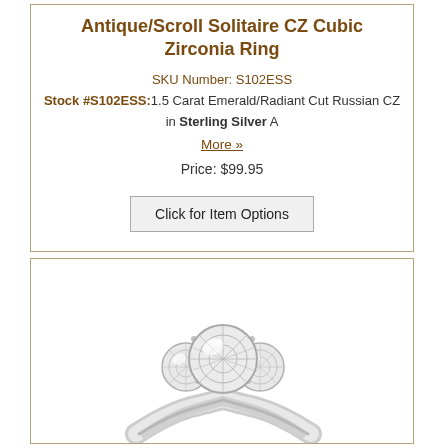Antique/Scroll Solitaire CZ Cubic Zirconia Ring
SKU Number: S102ESS
Stock #S102ESS: 1.5 Carat Emerald/Radiant Cut Russian CZ in Sterling Silver A
More »
Price: $99.95
Click for Item Options
[Figure (photo): A three-stone cubic zirconia ring in sterling silver setting, with one large center round CZ flanked by two smaller round CZ stones, prong set on a polished silver band.]